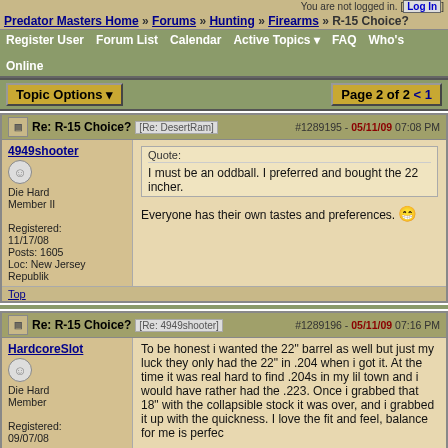You are not logged in. [Log In]
Predator Masters Home » Forums » Hunting » Firearms » R-15 Choice?
Register User  Forum List  Calendar  Active Topics  FAQ  Who's Online
Topic Options ▼   Page 2 of 2 < 1
Re: R-15 Choice? [Re: DesertRam]  #1289195 - 05/11/09 07:08 PM
4949shooter
Die Hard Member II
Registered: 11/17/08
Posts: 1605
Loc: New Jersey Republik
Quote:
I must be an oddball. I preferred and bought the 22 incher.

Everyone has their own tastes and preferences. 😁
Re: R-15 Choice? [Re: 4949shooter]  #1289196 - 05/11/09 07:16 PM
HardcoreSlot
Die Hard Member
Registered: 09/07/08
To be honest i wanted the 22" barrel as well but just my luck they only had the 22" in .204 when i got it. At the time it was real hard to find .204s in my lil town and i would have rather had the .223. Once i grabbed that 18" with the collapsible stock it was over, and i grabbed it up with the quickness. I love the fit and feel, balance for me is perfec